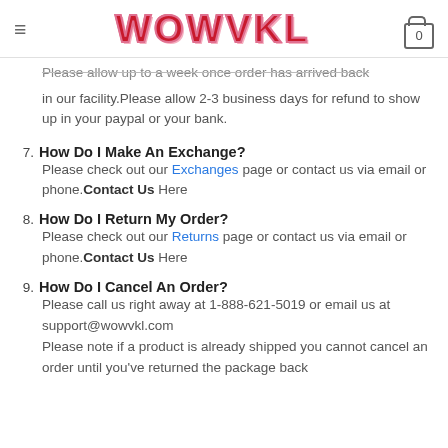WOWVKL
Please allow up to a week once order has arrived back in our facility.Please allow 2-3 business days for refund to show up in your paypal or your bank.
7. How Do I Make An Exchange? Please check out our Exchanges page or contact us via email or phone. Contact Us Here
8. How Do I Return My Order? Please check out our Returns page or contact us via email or phone. Contact Us Here
9. How Do I Cancel An Order? Please call us right away at 1-888-621-5019 or email us at support@wowvkl.com. Please note if a product is already shipped you cannot cancel an order until you've returned the package back